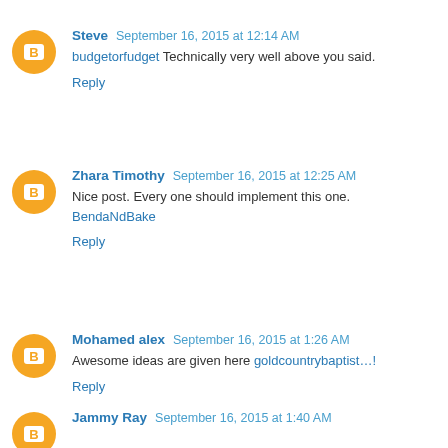Steve  September 16, 2015 at 12:14 AM
budgetorfudget Technically very well above you said.
Reply
Zhara Timothy  September 16, 2015 at 12:25 AM
Nice post. Every one should implement this one. BendaNdBake
Reply
Mohamed alex  September 16, 2015 at 1:26 AM
Awesome ideas are given here goldcountrybaptist...!
Reply
Jammy Ray  September 16, 2015 at 1:40 AM